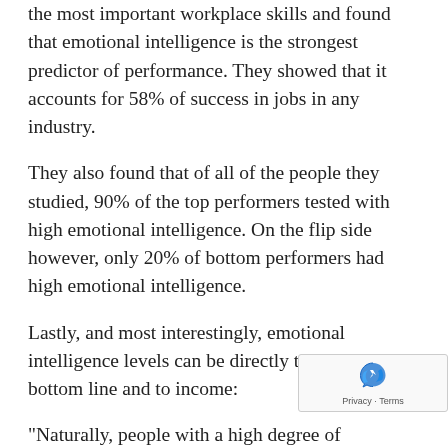the most important workplace skills and found that emotional intelligence is the strongest predictor of performance. They showed that it accounts for 58% of success in jobs in any industry.
They also found that of all of the people they studied, 90% of the top performers tested with high emotional intelligence. On the flip side however, only 20% of bottom performers had high emotional intelligence.
Lastly, and most interestingly, emotional intelligence levels can be directly tied to the bottom line and to income:
"Naturally, people with a high degree of emotional intelligence make more money—an average of $29,000 more per year than people with a low degree of emotional intelligence. The link between emotional intelligence and earnings is so direct that every po increase in emotional intelligence adds $1,300 to an